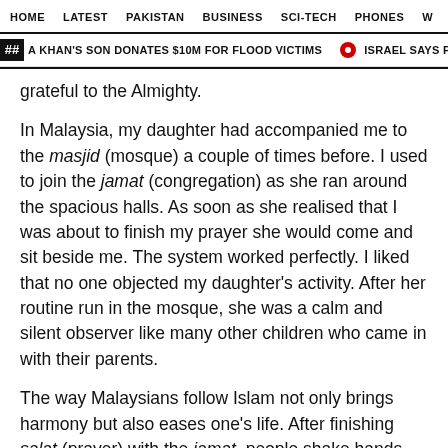HOME   LATEST   PAKISTAN   BUSINESS   SCI-TECH   PHONES   W
A KHAN'S SON DONATES $10M FOR FLOOD VICTIMS   ISRAEL SAYS PRESSURING U
grateful to the Almighty.
In Malaysia, my daughter had accompanied me to the masjid (mosque) a couple of times before. I used to join the jamat (congregation) as she ran around the spacious halls. As soon as she realised that I was about to finish my prayer she would come and sit beside me. The system worked perfectly. I liked that no one objected my daughter's activity. After her routine run in the mosque, she was a calm and silent observer like many other children who came in with their parents.
The way Malaysians follow Islam not only brings harmony but also eases one's life. After finishing salat (prayer) with the jamat, people shake hands with one another, enquire